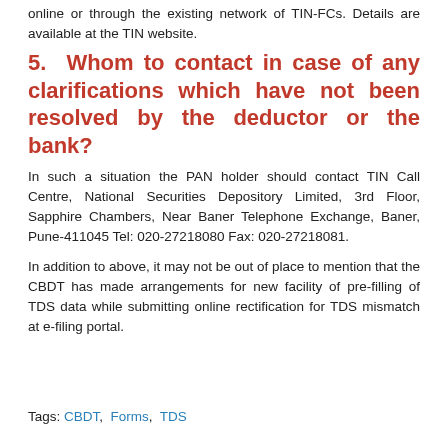online or through the existing network of TIN-FCs. Details are available at the TIN website.
5. Whom to contact in case of any clarifications which have not been resolved by the deductor or the bank?
In such a situation the PAN holder should contact TIN Call Centre, National Securities Depository Limited, 3rd Floor, Sapphire Chambers, Near Baner Telephone Exchange, Baner, Pune-411045 Tel: 020-27218080 Fax: 020-27218081.
In addition to above, it may not be out of place to mention that the CBDT has made arrangements for new facility of pre-filling of TDS data while submitting online rectification for TDS mismatch at e-filing portal.
Tags: CBDT, Forms, TDS